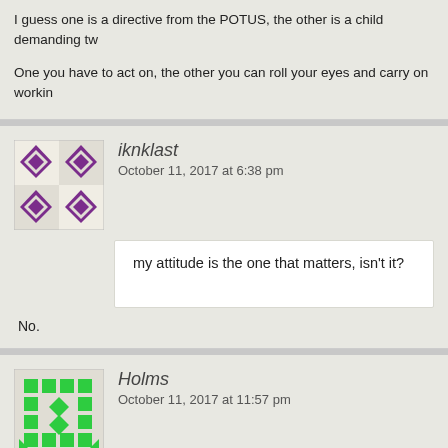I guess one is a directive from the POTUS, the other is a child demanding tw
One you have to act on, the other you can roll your eyes and carry on workin
iknklast
October 11, 2017 at 6:38 pm
my attitude is the one that matters, isn't it?
No.
Holms
October 11, 2017 at 11:57 pm
Q: Do you want to increase the nuclear arsenal?
PRESIDENT TRUMP: No, I never discussed increasing it. I want it
was just fake news by NBC.